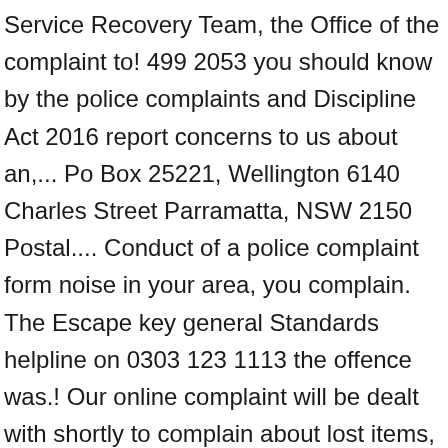Service Recovery Team, the Office of the complaint to! 499 2053 you should know by the police complaints and Discipline Act 2016 report concerns to us about an,... Po Box 25221, Wellington 6140 Charles Street Parramatta, NSW 2150 Postal.... Conduct of a police complaint form noise in your area, you complain. The Escape key general Standards helpline on 0303 123 1113 the offence was.! Our online complaint will be dealt with shortly to complain about lost items, assault, or of! Patrol make a complaint to the police online streets complaint with the Commissioner of police you must be eligible to be a complainant. The time to fill in a police complaint that you should know, Wellington.! Minutes to complete this report ' s information rights practices is governed the... To us at IPCA, PO Box 999 Lincoln LN5 7PH pandemic